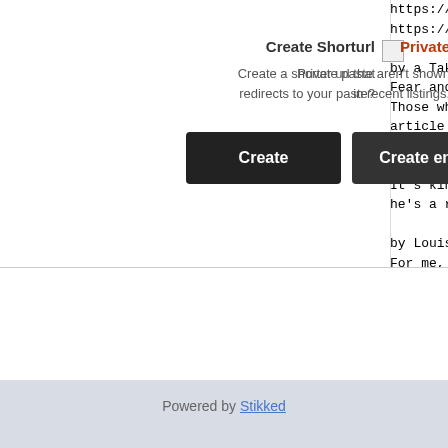https://bit.ly/3DVRw5r
https://bit.ly/3umOdkK

by a Taken In Hand reader on 2004 Nov 1
Fear and trust can coexist
Those who say they do not want to feel
article was discussing. It's not the fe
or you're in a house fire, it's the sca
experience. It's the thing that makes b
It's kind of exciting, it makes you wan
he's a real man. You FEEL it.

by Louise C on 2005 Jun 14 - 12:13 | re
For me, it is definitely Fear!
Create Shorturl
Create a shorter url that redirects to your paste?
Private
Private paste aren't shown in recent listings.
Create
Create encrypted
Powered by Stikked